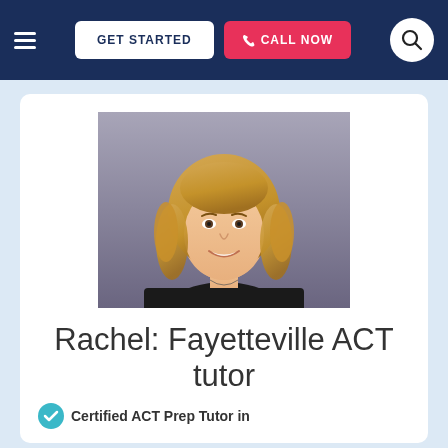GET STARTED | CALL NOW
[Figure (photo): Profile photo of Rachel, a young woman with curly blonde hair, wearing a black top, smiling, against a grey studio background]
Rachel: Fayetteville ACT tutor
Certified ACT Prep Tutor in